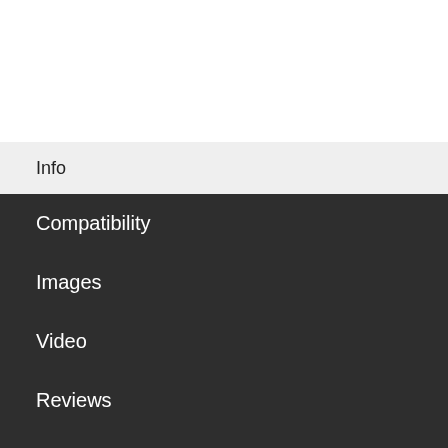Info
Compatibility
Images
Video
Reviews
Resources
It's time to upgrade to the newest standout wallet. With a 2-in-1 design, the MagFold doubles as a two-card wallet and a versatile